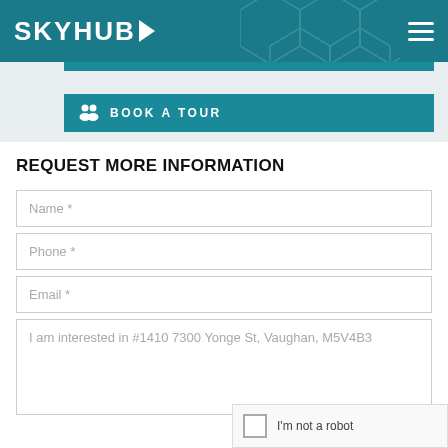SKYHUB
[Figure (screenshot): Book a Tour button with teal background and people icon]
REQUEST MORE INFORMATION
Name *
Phone *
Email *
I am interested in #1410 7300 Yonge St, Vaughan, M5V4B3
I'm not a robot